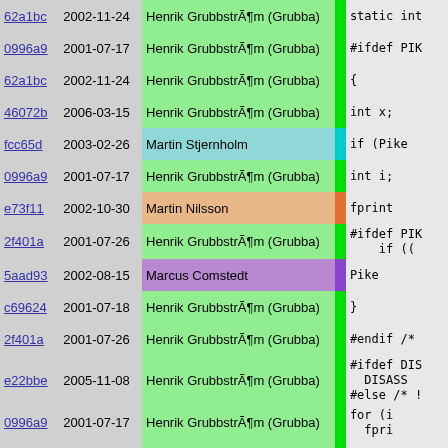| hash | date | author | code |
| --- | --- | --- | --- |
| 62a1bc | 2002-11-24 | Henrik GrubbstrÃ¶m (Grubba) | static int |
| 0996a9 | 2001-07-17 | Henrik GrubbstrÃ¶m (Grubba) | #ifdef PIK |
| 62a1bc | 2002-11-24 | Henrik GrubbstrÃ¶m (Grubba) | { |
| 46072b | 2006-03-15 | Henrik GrubbstrÃ¶m (Grubba) | int x; |
| fcc65d | 2003-02-26 | Martin Stjernholm | if (Pike |
| 0996a9 | 2001-07-17 | Henrik GrubbstrÃ¶m (Grubba) | int i; |
| e73f11 | 2002-10-30 | Martin Nilsson | fprintf |
| 2f401a | 2001-07-26 | Henrik GrubbstrÃ¶m (Grubba) | #ifdef PIK
    if (( |
| 5aad93 | 2002-08-15 | Marcus Comstedt | Pike |
| c69624 | 2001-07-18 | Henrik GrubbstrÃ¶m (Grubba) | } |
| 2f401a | 2001-07-26 | Henrik GrubbstrÃ¶m (Grubba) | #endif /* |
| e22bbe | 2005-11-08 | Henrik GrubbstrÃ¶m (Grubba) | #ifdef DIS
  DISASS
#else /* ! |
| 0996a9 | 2001-07-17 | Henrik GrubbstrÃ¶m (Grubba) | for (i
  fpri |